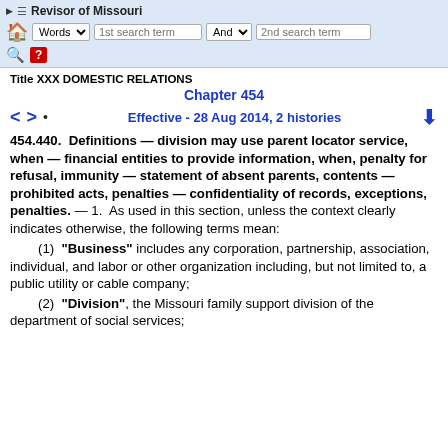Revisor of Missouri — Words | 1st search term | And | 2nd search term
Title XXX DOMESTIC RELATIONS
Chapter 454
Effective - 28 Aug 2014, 2 histories
454.440. Definitions — division may use parent locator service, when — financial entities to provide information, when, penalty for refusal, immunity — statement of absent parents, contents — prohibited acts, penalties — confidentiality of records, exceptions, penalties. — 1. As used in this section, unless the context clearly indicates otherwise, the following terms mean:
(1) "Business" includes any corporation, partnership, association, individual, and labor or other organization including, but not limited to, a public utility or cable company;
(2) "Division", the Missouri family support division of the department of social services;